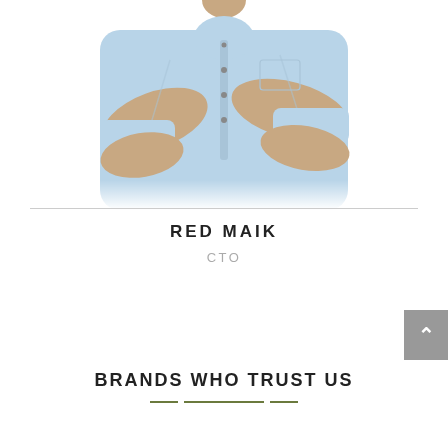[Figure (photo): A man in a light blue shirt with arms crossed, cropped from chest up, on a white background]
RED MAIK
CTO
BRANDS WHO TRUST US